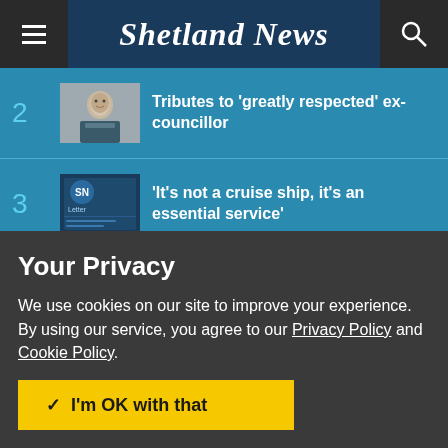Shetland News
2  Tributes to 'greatly respected' ex-councillor
3  'It's not a cruise ship, it's an essential service'
4  Woman fined after row over land access
Your Privacy
We use cookies on our site to improve your experience.
By using our service, you agree to our Privacy Policy and Cookie Policy.
I'm OK with that